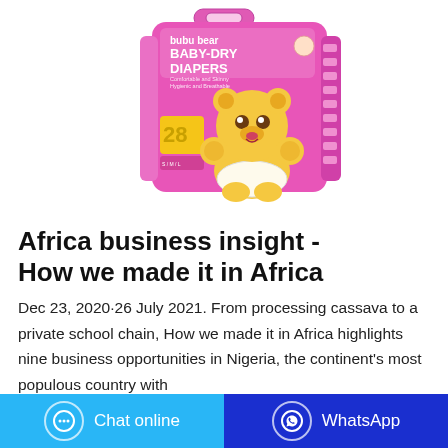[Figure (photo): bubu bear BABY-DRY DIAPERS product package in pink/magenta color with a cartoon bear character and '28' count label]
Africa business insight - How we made it in Africa
Dec 23, 2020·26 July 2021. From processing cassava to a private school chain, How we made it in Africa highlights nine business opportunities in Nigeria, the continent's most populous country with
Chat online
WhatsApp